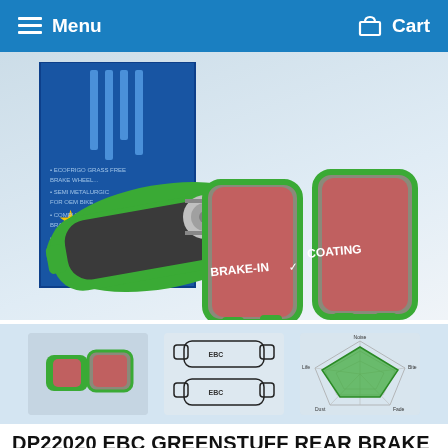Menu   Cart
[Figure (photo): EBC Greenstuff brake pads product photo showing green-edged brake pads with red friction material labeled BRAKE-IN COATING, alongside blue product packaging box]
[Figure (photo): Thumbnail 1: Small product photo of EBC Greenstuff brake pads]
[Figure (engineering-diagram): Thumbnail 2: Technical engineering diagram/schematic of brake pad dimensions with EBC logo]
[Figure (radar-chart): Thumbnail 3: Radar/spider chart showing brake pad performance characteristics in green]
DP22020 EBC GREENSTUFF REAR BRAKE